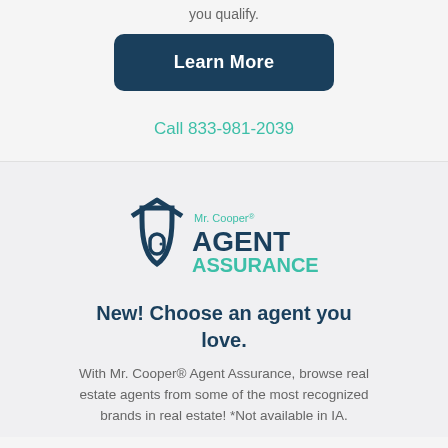you qualify.
Learn More
Call 833-981-2039
[Figure (logo): Mr. Cooper Agent Assurance logo with shield icon and house door, teal and dark blue colors]
New! Choose an agent you love.
With Mr. Cooper® Agent Assurance, browse real estate agents from some of the most recognized brands in real estate! *Not available in IA.